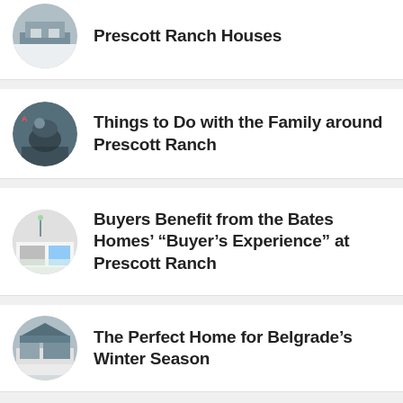Prescott Ranch Houses
Things to Do with the Family around Prescott Ranch
Buyers Benefit from the Bates Homes’ “Buyer’s Experience” at Prescott Ranch
The Perfect Home for Belgrade’s Winter Season